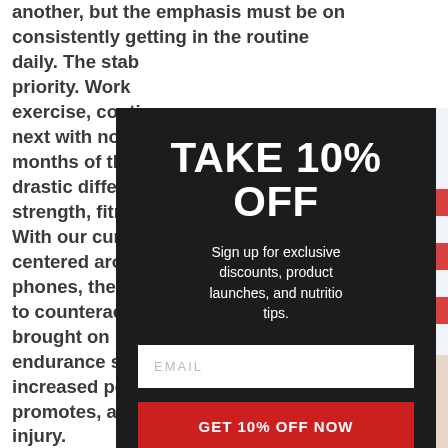another, but the emphasis must be on consistently getting in the routine daily. The stability must be the priority. Work on the form of the exercise, continue day after day, next with no breaks. After a few months of this you will notice drastic differences in your strength, fitness and physique. With our current lifestyle centered around sitting and phones, the consistency needed to counteracting the problems brought on by such a sedentary endurance sport also promotes increased posture, which promotes, and reduces risk of injury.
Commit to your core!
[Figure (other): Popup modal overlay on a dark background with 'TAKE 10% OFF' heading, subtitle 'Sign up for exclusive discounts, product launches, and nutrition tips.', email input field, red 'GET 10% OFF NOW' button, and footnote '*Custom team orders excluded from discount']
[Figure (photo): Partial view of a person holding an American flag, visible on the right side of the page behind the modal overlay]